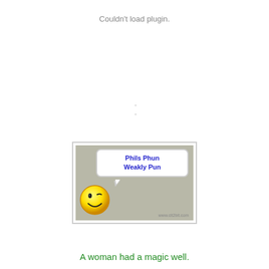Couldn't load plugin.
-
-
[Figure (illustration): A banner image with 'Phils Phun Weakly Pun' in a speech bubble next to a yellow smiley face, on a grey background. Watermark reads www.cit2bit.com]
A woman had a magic well.